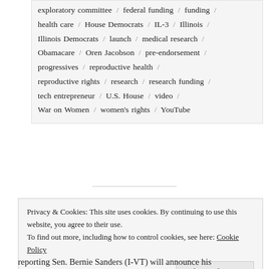exploratory committee / federal funding / funding / health care / House Democrats / IL-3 / Illinois / Illinois Democrats / launch / medical research / Obamacare / Oren Jacobson / pre-endorsement / progressives / reproductive health / reproductive rights / research / research funding / tech entrepreneur / U.S. House / video / War on Women / women's rights / YouTube
Privacy & Cookies: This site uses cookies. By continuing to use this website, you agree to their use. To find out more, including how to control cookies, see here: Cookie Policy
reporting Sen. Bernie Sanders (I-VT) will announce his